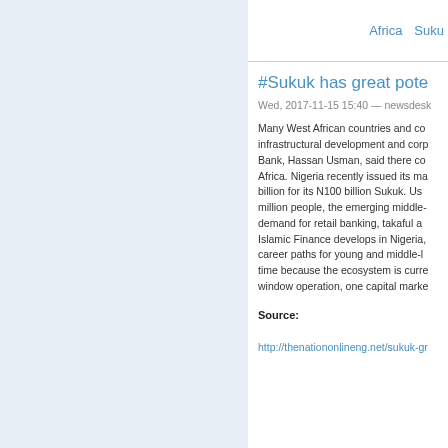Africa   Suku
#Sukuk has great pote
Wed, 2017-11-15 15:40 — newsdesk
Many West African countries and co infrastructural development and corp Bank, Hassan Usman, said there co Africa. Nigeria recently issued its ma billion for its N100 billion Sukuk. Us million people, the emerging middle- demand for retail banking, takaful a Islamic Finance develops in Nigeria, career paths for young and middle-l time because the ecosystem is curr window operation, one capital marke
Source:
http://thenationonlineng.net/sukuk-gr